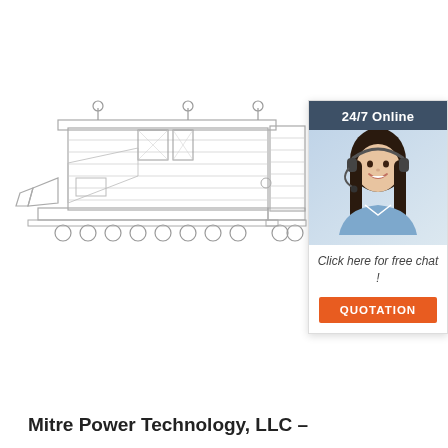[Figure (engineering-diagram): Technical side-elevation schematic drawing of an industrial machine (appears to be a biomass/coal processing or power generation unit) showing mechanical components including hoppers, rollers, conveyor, structural frame, and internal chambers. Line drawing in light gray tones.]
[Figure (infographic): Chat widget showing '24/7 Online' header on dark blue background, a photo of a smiling woman with a headset, text 'Click here for free chat!' and an orange 'QUOTATION' button.]
Mitre Power Technology, LLC –